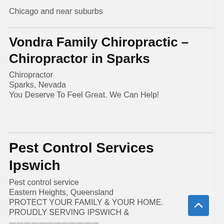Chicago and near suburbs
Vondra Family Chiropractic – Chiropractor in Sparks
Chiropractor
Sparks, Nevada
You Deserve To Feel Great. We Can Help!
Pest Control Services Ipswich
Pest control service
Eastern Heights, Queensland
PROTECT YOUR FAMILY & YOUR HOME. PROUDLY SERVING IPSWICH &
...